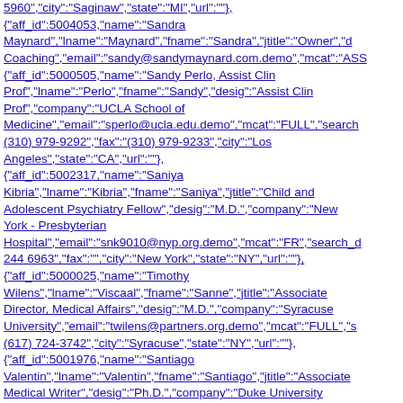5960","city":"Saginaw","state":"MI","url":""}, {"aff_id":5004053,"name":"Sandra Maynard","lname":"Maynard","fname":"Sandra","jtitle":"Owner","d Coaching","email":"sandy@sandymaynard.com.demo","mcat":"ASS {"aff_id":5000505,"name":"Sandy Perlo, Assist Clin Prof","lname":"Perlo","fname":"Sandy","desig":"Assist Clin Prof","company":"UCLA School of Medicine","email":"sperlo@ucla.edu.demo","mcat":"FULL","search (310) 979-9292","fax":"(310) 979-9233","city":"Los Angeles","state":"CA","url":""}, {"aff_id":5002317,"name":"Saniya Kibria","lname":"Kibria","fname":"Saniya","jtitle":"Child and Adolescent Psychiatry Fellow","desig":"M.D.","company":"New York - Presbyterian Hospital","email":"snk9010@nyp.org.demo","mcat":"FR","search_d 244 6963","fax":"","city":"New York","state":"NY","url":""}, {"aff_id":5000025,"name":"Timothy Wilens","lname":"Viscaal","fname":"Sanne","jtitle":"Associate Director, Medical Affairs","desig":"M.D.","company":"Syracuse University","email":"twilens@partners.org.demo","mcat":"FULL","s (617) 724-3742","city":"Syracuse","state":"NY","url":""}, {"aff_id":5001976,"name":"Santiago Valentin","lname":"Valentin","fname":"Santiago","jtitle":"Associate Medical Writer","desig":"Ph.D.","company":"Duke University Medical